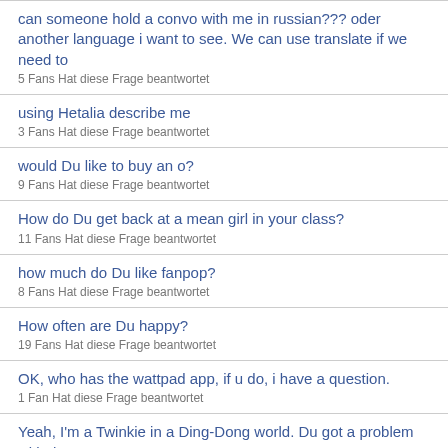can someone hold a convo with me in russian??? oder another language i want to see. We can use translate if we need to
5 Fans Hat diese Frage beantwortet
using Hetalia describe me
3 Fans Hat diese Frage beantwortet
would Du like to buy an o?
9 Fans Hat diese Frage beantwortet
How do Du get back at a mean girl in your class?
11 Fans Hat diese Frage beantwortet
how much do Du like fanpop?
8 Fans Hat diese Frage beantwortet
How often are Du happy?
19 Fans Hat diese Frage beantwortet
OK, who has the wattpad app, if u do, i have a question.
1 Fan Hat diese Frage beantwortet
Yeah, I'm a Twinkie in a Ding-Dong world. Du got a problem with that?
15 Fans Hat diese Frage beantwortet
Is there only one Slender Man, oder are there many?